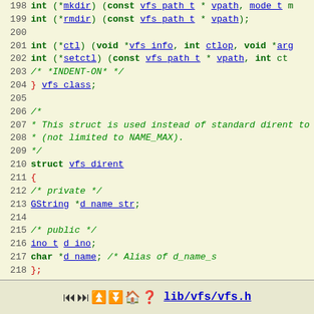Source code listing: lib/vfs/vfs.h lines 198-224
lib/vfs/vfs.h